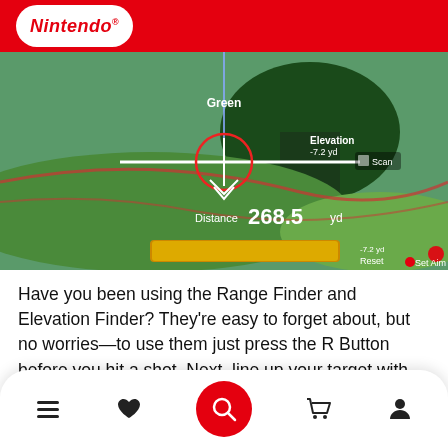Nintendo
[Figure (screenshot): Nintendo golf game screenshot showing Range Finder with target crosshair on green. Displays 'Green' label, 'Elevation -7.2 yd', 'Scan' button, distance reading '268.5 yd', yellow indicator bar, and 'Reset / Set Aim' controls at bottom right.]
Have you been using the Range Finder and Elevation Finder? They're easy to forget about, but no worries—to use them just press the R Button before you hit a shot. Next, line up your target with the center of the screen and it will measure 1) how far away your target is and 2) elevation change. Elevation will...
Navigation bar: menu, favorites, search, cart, account